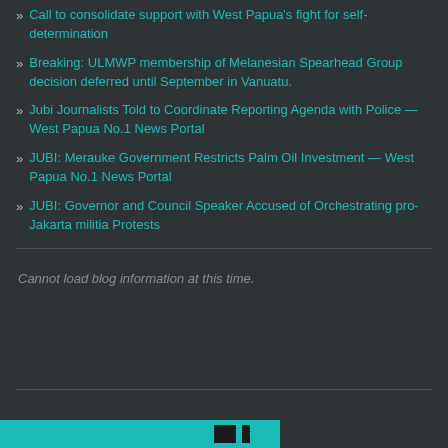Call to consolidate support with West Papua's fight for self-determination
Breaking: ULMWP membership of Melanesian Spearhead Group decision deferred until September in Vanuatu.
Jubi Journalists Told to Coordinate Reporting Agenda with Police — West Papua No.1 News Portal
JUBI: Merauke Government Restricts Palm Oil Investment — West Papua No.1 News Portal
JUBI: Governor and Council Speaker Accused of Orchestrating pro-Jakarta militia Protests
Cannot load blog information at this time.
[Figure (other): Partial view of a cyan/teal colored banner or image strip at the bottom with dark vertical bars]